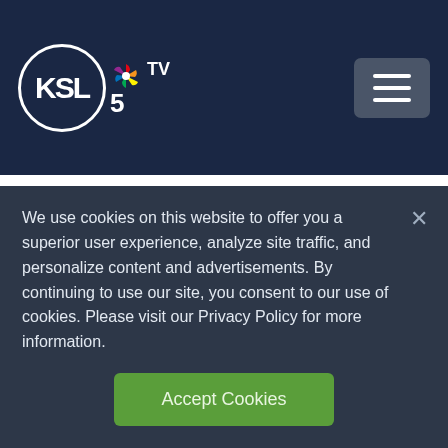KSL TV 5
Use Venus, currently a brightly visible presence in the southwestern sky around sunset, as a way to help you find the comet.
“Beginning Dec. 13, this comet will appear very low above the horizon just after sunset,”
We use cookies on this website to offer you a superior user experience, analyze site traffic, and personalize content and advertisements. By continuing to use our site, you consent to our use of cookies. Please visit our Privacy Policy for more information.
Accept Cookies